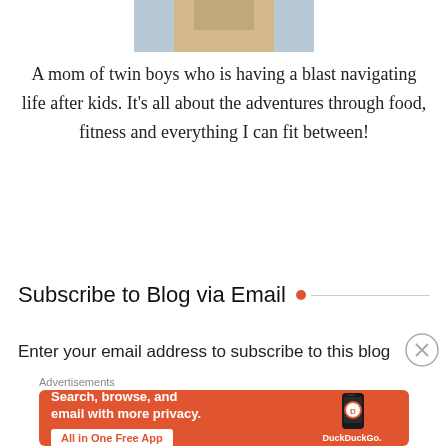[Figure (photo): Cropped photo of a person, partially visible at the top of the page]
A mom of twin boys who is having a blast navigating life after kids. It's all about the adventures through food, fitness and everything I can fit between!
Subscribe to Blog via Email
Enter your email address to subscribe to this blog
[Figure (infographic): DuckDuckGo advertisement banner with orange background. Text reads: Search, browse, and email with more privacy. All in One Free App. Shows a phone with DuckDuckGo logo.]